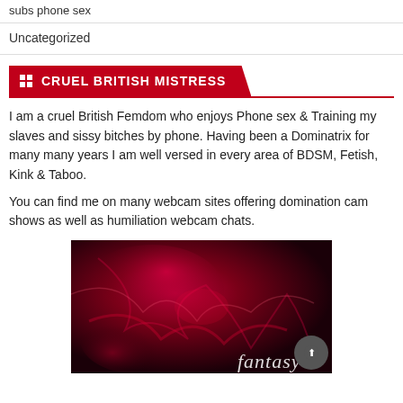subs phone sex
Uncategorized
CRUEL BRITISH MISTRESS
I am a cruel British Femdom who enjoys Phone sex & Training my slaves and sissy bitches by phone. Having been a Dominatrix for many many years I am well versed in every area of BDSM, Fetish, Kink & Taboo.
You can find me on many webcam sites offering domination cam shows as well as humiliation webcam chats.
[Figure (photo): Red satin/latex fabric close-up with the word 'fantasy' visible in cursive at the bottom right]